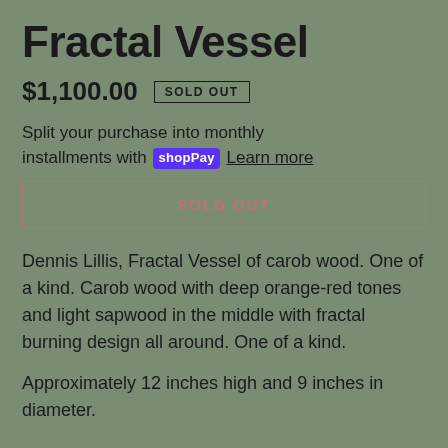Fractal Vessel
$1,100.00  SOLD OUT
Split your purchase into monthly installments with shopPay  Learn more
SOLD OUT
Dennis Lillis, Fractal Vessel of carob wood. One of a kind. Carob wood with deep orange-red tones and light sapwood in the middle with fractal burning design all around. One of a kind.
Approximately 12 inches high and 9 inches in diameter.